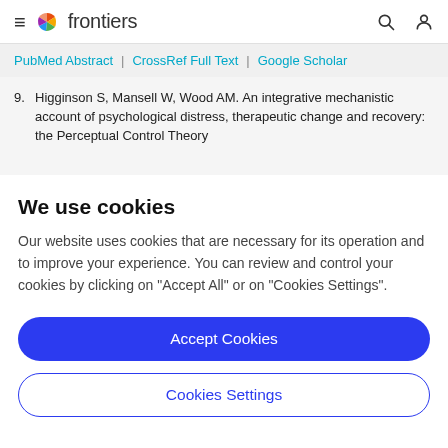frontiers
PubMed Abstract | CrossRef Full Text | Google Scholar
9. Higginson S, Mansell W, Wood AM. An integrative mechanistic account of psychological distress, therapeutic change and recovery: the Perceptual Control Theory
We use cookies
Our website uses cookies that are necessary for its operation and to improve your experience. You can review and control your cookies by clicking on "Accept All" or on "Cookies Settings".
Accept Cookies
Cookies Settings